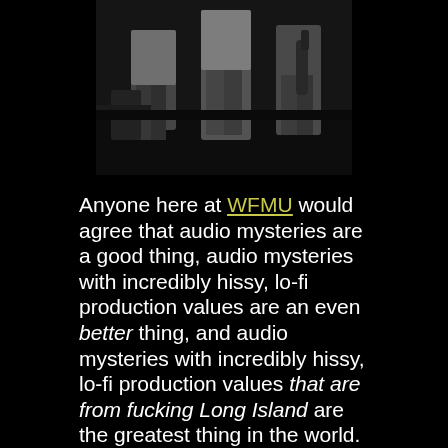[Figure (photo): Black and white photo of musicians/performers on stage, cropped showing lower bodies and instruments]
Anyone here at WFMU would agree that audio mysteries are a good thing, audio mysteries with incredibly hissy, lo-fi production values are an even better thing, and audio mysteries with incredibly hissy, lo-fi production values that are from fucking Long Island are the greatest thing in the world. Witness Tin River Junction, who